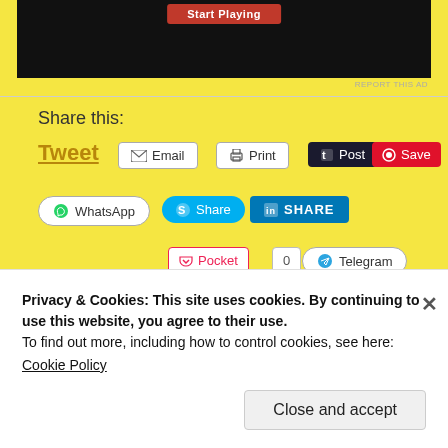[Figure (screenshot): Black video player area with a red button at top]
REPORT THIS AD
Share this:
Tweet
Email
Print
Post
Save
WhatsApp
Share
SHARE
Pocket
0
Telegram
Like
Privacy & Cookies: This site uses cookies. By continuing to use this website, you agree to their use.
To find out more, including how to control cookies, see here:
Cookie Policy
Close and accept